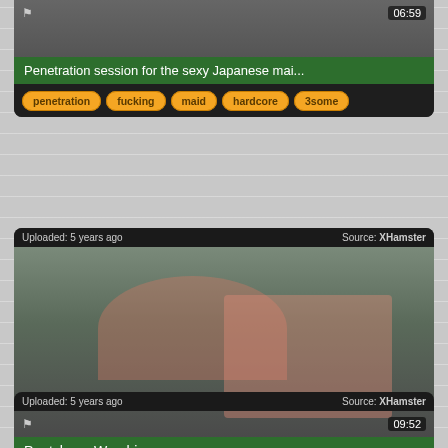Penetration session for the sexy Japanese mai...
penetration
fucking
maid
hardcore
3some
Uploaded: 5 years ago   Source: XHamster
[Figure (photo): Two women on a couch, one in pink dress lying on sofa, one in pink top and black shorts sitting on floor, fetish video thumbnail, duration 09:52]
Pantyhose Worship
kinky
foot fetish
stockings
pantyhose
fetish
Uploaded: 5 years ago   Source: XHamster